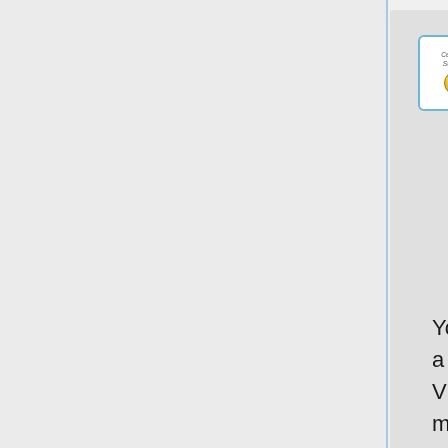[Figure (screenshot): macOS dialog box asking to add certificate(s) from 'cert_export_macOS_client.p12', showing a certificate icon, 'Keychain' label, and a 'View Certificates' button. Dialog is partially cropped on the right.]
You can now proceed to System Preferences -> Network and add a new configuration by clicking the + button. Select Interface: VPN, VPN Type: IKEv2 and name your connection. Remote ID must be set equal to common-name or subjAltName of server's certificate. Local ID can be left blank. Under